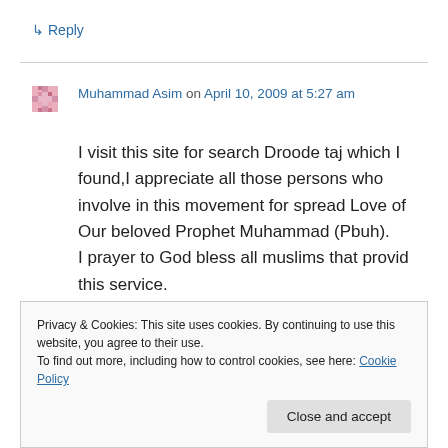↳ Reply
Muhammad Asim on April 10, 2009 at 5:27 am
I visit this site for search Droode taj which I found,I appreciate all those persons who involve in this movement for spread Love of Our beloved Prophet Muhammad (Pbuh).
I prayer to God bless all muslims that provid this service.
Privacy & Cookies: This site uses cookies. By continuing to use this website, you agree to their use.
To find out more, including how to control cookies, see here: Cookie Policy
Close and accept